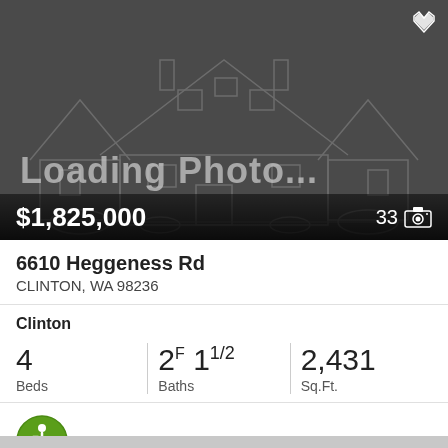[Figure (photo): Loading photo placeholder showing a house outline on dark gray background with 'Loading Photo...' text overlay. Price $1,825,000 shown in bottom bar with photo count of 33.]
6610 Heggeness Rd
CLINTON, WA 98236
Clinton
4
Beds
2F 11/2
Baths
2,431
Sq.Ft.
MLS® #: 1973335